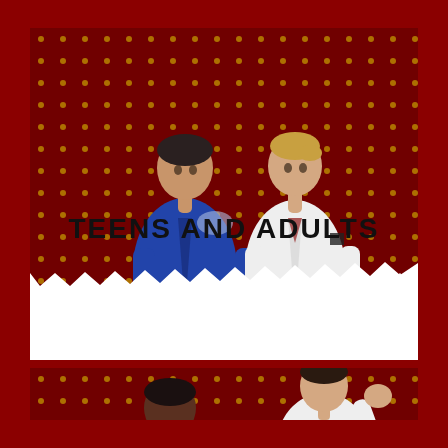[Figure (photo): Two martial artists in judogi/dobok standing back to back against a dark red background with gold dot pattern. Left figure wears blue gi, right figure wears white gi.]
TEENS AND ADULTS
[Figure (photo): Two martial arts students against dark red dotted background. Left figure wears red shirt with blue bag/strap, right figure wears white dobok with yellow belt, hand raised in martial arts pose.]